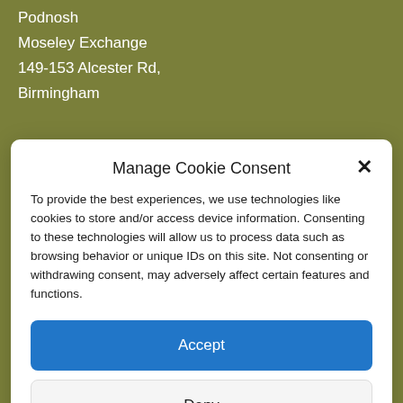Podnosh
Moseley Exchange
149-153 Alcester Rd,
Birmingham
Manage Cookie Consent
To provide the best experiences, we use technologies like cookies to store and/or access device information. Consenting to these technologies will allow us to process data such as browsing behavior or unique IDs on this site. Not consenting or withdrawing consent, may adversely affect certain features and functions.
Accept
Deny
View preferences
Cookie Policy   Privacy Policy